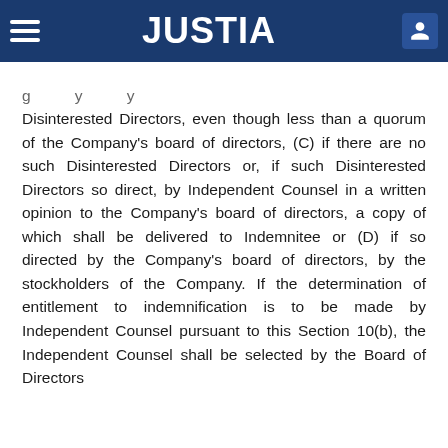JUSTIA
Disinterested Directors, even though less than a quorum of the Company’s board of directors, (C) if there are no such Disinterested Directors or, if such Disinterested Directors so direct, by Independent Counsel in a written opinion to the Company’s board of directors, a copy of which shall be delivered to Indemnitee or (D) if so directed by the Company’s board of directors, by the stockholders of the Company. If the determination of entitlement to indemnification is to be made by Independent Counsel pursuant to this Section 10(b), the Independent Counsel shall be selected by the Board of Directors